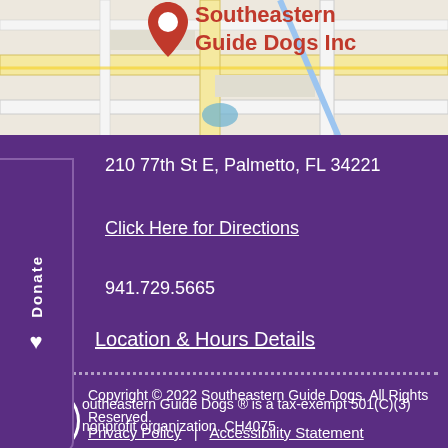[Figure (map): Google Maps screenshot showing location pin for Southeastern Guide Dogs Inc with red map marker and road layout]
Southeastern Guide Dogs Inc
210 77th St E, Palmetto, FL 34221
Click Here for Directions
941.729.5665
Location & Hours Details
Copyright © 2022 Southeastern Guide Dogs. All Rights Reserved.
Privacy Policy   |   Accessibility Statement
Southeastern Guide Dogs ® is a tax-exempt 501(C)(3) nonprofit organization. CH4075